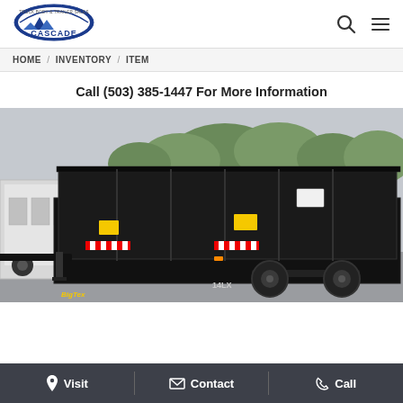[Figure (logo): Cascade Truck Body & Trailer Sales logo — blue oval with mountain graphic and text]
HOME / INVENTORY / ITEM
Call (503) 385-1447 For More Information
[Figure (photo): Black Big Tex 14LX dump trailer photographed in a parking lot. Trailer has high sidewalls, two axles with black wheels, and red/white safety markings. A white enclosed trailer is visible to the left. Trees visible in background.]
Visit   Contact   Call